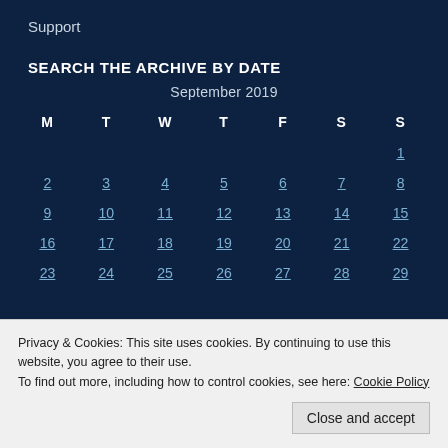Support
SEARCH THE ARCHIVE BY DATE
| M | T | W | T | F | S | S |
| --- | --- | --- | --- | --- | --- | --- |
|  |  |  |  |  |  | 1 |
| 2 | 3 | 4 | 5 | 6 | 7 | 8 |
| 9 | 10 | 11 | 12 | 13 | 14 | 15 |
| 16 | 17 | 18 | 19 | 20 | 21 | 22 |
| 23 | 24 | 25 | 26 | 27 | 28 | 29 |
Privacy & Cookies: This site uses cookies. By continuing to use this website, you agree to their use.
To find out more, including how to control cookies, see here: Cookie Policy
Close and accept